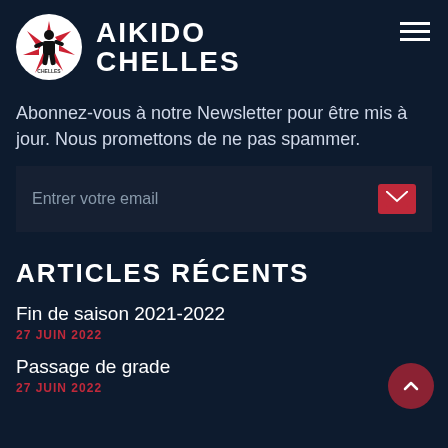AIKIDO CHELLES
Abonnez-vous à notre Newsletter pour être mis à jour. Nous promettons de ne pas spammer.
[Figure (screenshot): Email input field with placeholder 'Entrer votre email' and a red envelope/submit icon on the right]
ARTICLES RÉCENTS
Fin de saison 2021-2022
27 JUIN 2022
Passage de grade
27 JUIN 2022